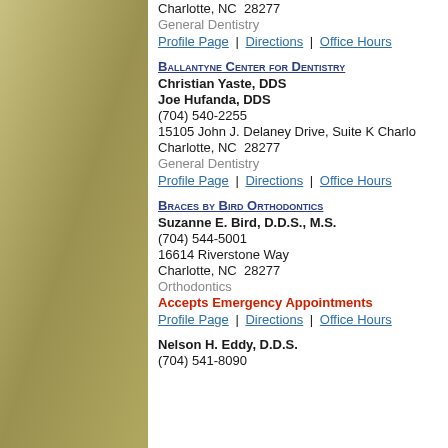Charlotte, NC  28277
General Dentistry
Profile Page | Directions | Office Hours
Ballantyne Center for Dentistry
Christian Yaste, DDS
Joe Hufanda, DDS
(704) 540-2255
15105 John J. Delaney Drive, Suite K Charlotte,
Charlotte, NC  28277
General Dentistry
Profile Page | Directions | Office Hours
Braces by Bird Orthodontics
Suzanne E. Bird, D.D.S., M.S.
(704) 544-5001
16614 Riverstone Way
Charlotte, NC  28277
Orthodontics
Accepts Emergency Appointments
Profile Page | Directions | Office Hours
Nelson H. Eddy, D.D.S.
(704) 541-8090